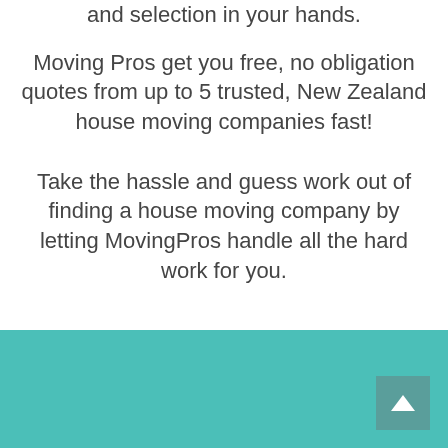and selection in your hands.
Moving Pros get you free, no obligation quotes from up to 5 trusted, New Zealand house moving companies fast!
Take the hassle and guess work out of finding a house moving company by letting MovingPros handle all the hard work for you.